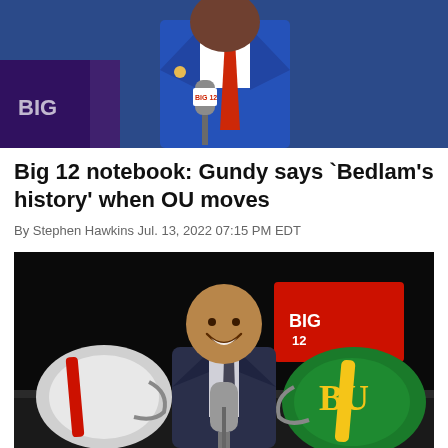[Figure (photo): Man in blue suit with red tie speaking at a microphone with Big 12 branding at a press conference]
Big 12 notebook: Gundy says `Bedlam's history' when OU moves
By Stephen Hawkins Jul. 13, 2022 07:15 PM EDT
[Figure (photo): Smiling bald man in suit at a podium with microphone, flanked by football helmets including a Baylor Bears green helmet, Big 12 logo visible in background]